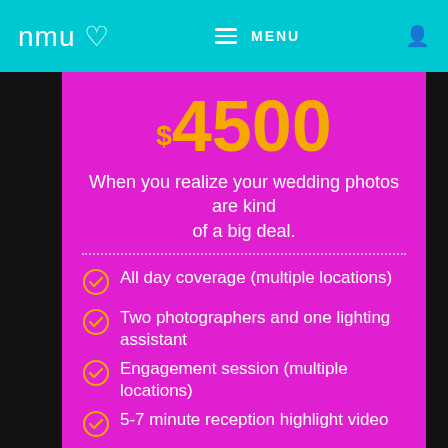nmu ♡  ≡ MENU  [user icon]
$4500
When you realize your wedding photos are kind of a big deal.
All day coverage (multiple locations)
Two photographers and one lighting assistant
Engagement session (multiple locations)
5-7 minute reception highlight video
Parents print package (four 8x10s, four 5x7s)
44 page Bridal Packet
Online gallery with print ordering built-in